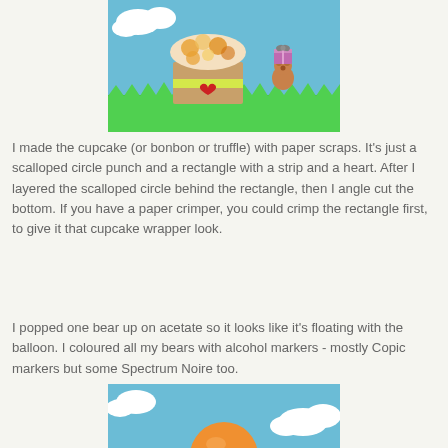[Figure (photo): A crafted greeting card scene with a blue textured background showing a paper cupcake/bonbon made from a scalloped circle and rectangle with a yellow strip and red heart, sitting on green grass. A small illustrated bear character holding a purple gift box with a gray bow is on the right side. White cloud cutouts appear in the upper left corner.]
I made the cupcake (or bonbon or truffle) with paper scraps. It's just a scalloped circle punch and a rectangle with a strip and a heart. After I layered the scalloped circle behind the rectangle, then I angle cut the bottom. If you have a paper crimper, you could crimp the rectangle first, to give it that cupcake wrapper look.
I popped one bear up on acetate so it looks like it's floating with the balloon. I coloured all my bears with alcohol markers - mostly Copic markers but some Spectrum Noire too.
[Figure (photo): Bottom portion of another greeting card scene with a blue background, white cloud cutout, and what appears to be a balloon or circular orange element peeking up from the bottom.]